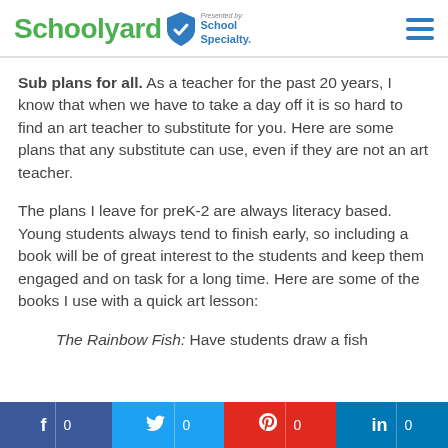Schoolyard — Presented by School Specialty
Sub plans for all. As a teacher for the past 20 years, I know that when we have to take a day off it is so hard to find an art teacher to substitute for you. Here are some plans that any substitute can use, even if they are not an art teacher.
The plans I leave for preK-2 are always literacy based. Young students always tend to finish early, so including a book will be of great interest to the students and keep them engaged and on task for a long time. Here are some of the books I use with a quick art lesson:
The Rainbow Fish: Have students draw a fish
f 0  | Twitter 0 | Pinterest 0 | in 0